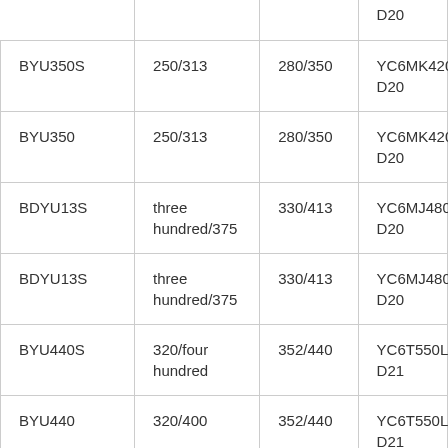|  |  |  | D20 |
| BYU350S | 250/313 | 280/350 | YC6MK420L-D20 |
| BYU350 | 250/313 | 280/350 | YC6MK420L-D20 |
| BDYU13S | three hundred/375 | 330/413 | YC6MJ480L-D20 |
| BDYU13S | three hundred/375 | 330/413 | YC6MJ480L-D20 |
| BYU440S | 320/four hundred | 352/440 | YC6T550L-D21 |
| BYU440 | 320/400 | 352/440 | YC6T550L-D21 |